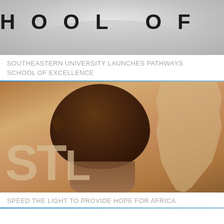[Figure (photo): Partial banner image showing text 'HOOL OF EXCELLEN' in large bold letters on a light gray background, part of 'SCHOOL OF EXCELLENCE']
SOUTHEASTERN UNIVERSITY LAUNCHES PATHWAYS SCHOOL OF EXCELLENCE
[Figure (photo): Photo of a smiling African child overlaid with large letters 'STE' and a silhouette of Africa continent in the background, warm brown tones]
SPEED THE LIGHT TO PROVIDE HOPE FOR AFRICA